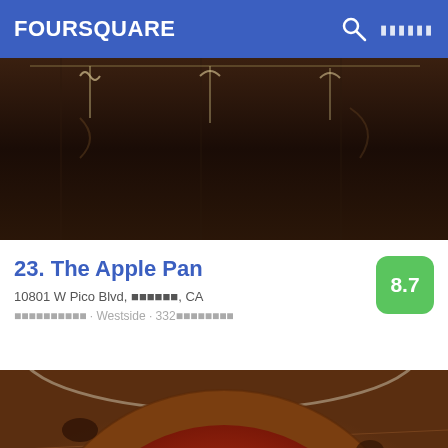FOURSQUARE
[Figure (photo): Dark interior restaurant photo showing hanging fixtures/hooks on ceiling]
23. The Apple Pan
8.7
10801 W Pico Blvd, ██████, CA
██████████ · Westside · 332████████
[Figure (photo): Close-up photo of a Neapolitan-style pizza with tomato sauce, mozzarella, and fresh basil on a wooden table]
24. Barboncino
9.1
791 Franklin Ave (btwn St Johns & Lincoln Pl), ████